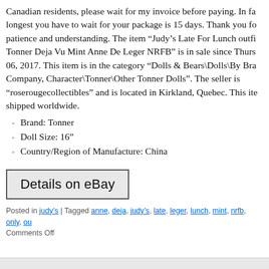Canadian residents, please wait for my invoice before paying. In fact, the longest you have to wait for your package is 15 days. Thank you for your patience and understanding. The item “Judy’s Late For Lunch outfit Tonner Deja Vu Mint Anne De Leger NRFB” is in sale since Thursday, 06, 2017. This item is in the category “Dolls & Bears\Dolls\By Brand, Company, Character\Tonner\Other Tonner Dolls”. The seller is “roserougecollectibles” and is located in Kirkland, Quebec. This item shipped worldwide.
Brand: Tonner
Doll Size: 16”
Country/Region of Manufacture: China
[Figure (other): Details on eBay button - a clickable button with border and grey background]
Posted in judy’s | Tagged anne, deja, judy’s, late, leger, lunch, mint, nrfb, only, ou... Comments Off